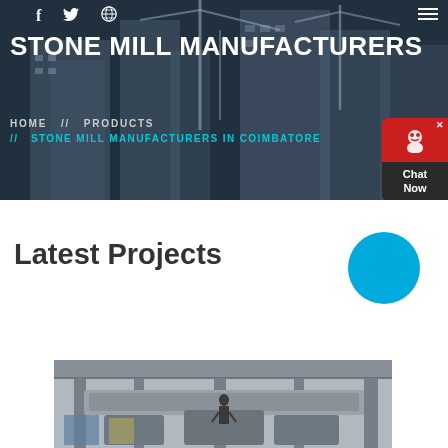[Figure (photo): Construction site hero banner with dark overlay showing construction cranes and buildings against blue sky]
STONE MILL MANUFACTURERS
HOME // PRODUCTS // STONE MILL MANUFACTURERS IN COIMBATORE
Latest Projects
[Figure (photo): Industrial stone mill machinery inside a factory/construction setting]